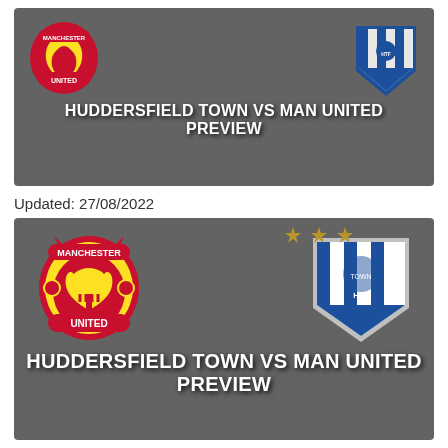[Figure (illustration): Dark grey banner with Manchester United crest on left and Huddersfield Town crest on right, with bold white text reading HUDDERSFIELD TOWN VS MAN UNITED PREVIEW]
Updated: 27/08/2022
[Figure (illustration): Larger dark grey banner with Manchester United crest on left and Huddersfield Town crest on right with two gold stars above it, with bold white text reading HUDDERSFIELD TOWN VS MAN UNITED PREVIEW]